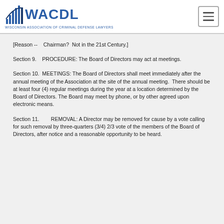WACDL - Wisconsin Association of Criminal Defense Lawyers
[Reason --    Chairman?  Not in the 21st Century.]
Section 9.    PROCEDURE: The Board of Directors may act at meetings.
Section 10.  MEETINGS: The Board of Directors shall meet immediately after the annual meeting of the Association at the site of the annual meeting.  There should be at least four (4) regular meetings during the year at a location determined by the Board of Directors. The Board may meet by phone, or by other agreed upon electronic means.
Section 11.        REMOVAL: A Director may be removed for cause by a vote calling for such removal by three-quarters (3/4) 2/3 vote of the members of the Board of Directors, after notice and a reasonable opportunity to be heard.